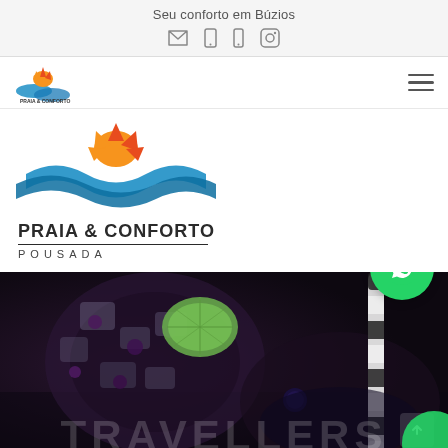Seu conforto em Búzios
[Figure (logo): Praia & Conforto Pousada logo - small version in navigation bar]
[Figure (logo): Praia & Conforto Pousada logo - large version with text PRAIA & CONFORTO POUSADA]
[Figure (photo): Dark moody photo of blueberry cocktail drinks with ice, lime garnish and striped straw, with large transparent text TRAVELLERS overlaid at bottom]